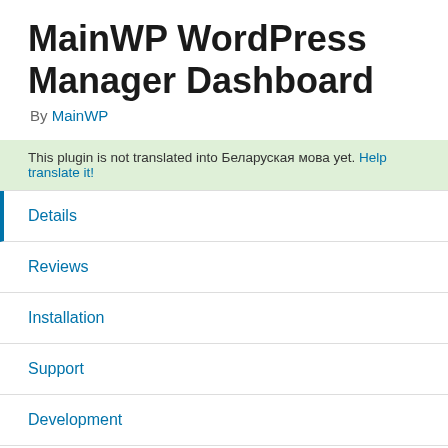MainWP WordPress Manager Dashboard
By MainWP
This plugin is not translated into Беларуская мова yet. Help translate it!
Details
Reviews
Installation
Support
Development
Description
The dashboard lets you manage WordPress sites...